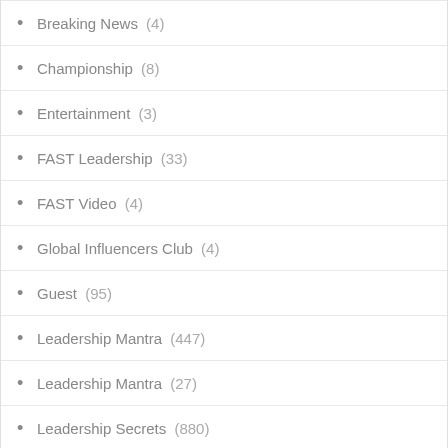Breaking News (4)
Championship (8)
Entertainment (3)
FAST Leadership (33)
FAST Video (4)
Global Influencers Club (4)
Guest (95)
Leadership Mantra (447)
Leadership Mantra (27)
Leadership Secrets (880)
Leadership Secrets (1)
Leadership Values (14)
Milestones (4)